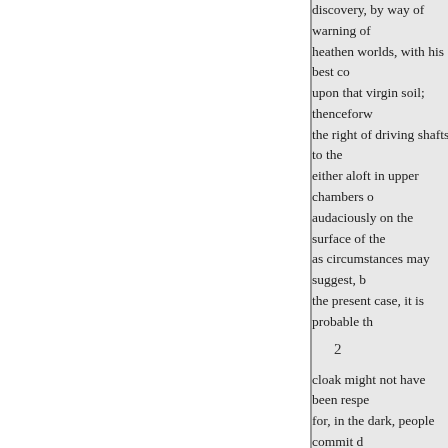discovery, by way of warning of heathen worlds, with his best co upon that virgin soil; thenceforw the right of driving shafts to the either aloft in upper chambers o audaciously on the surface of the as circumstances may suggest, b the present case, it is probable th
2
cloak might not have been respe for, in the dark, people commit d on this night there was no other c missed fire for want of a crimina
Having mounted the box, I took fifty miles, - viz., from a point se extraordinary. But by accident it coachman. And in that also there my own attention to the fact that In fact, he had been foretold by Y
“Monstrum, horrendum, infor